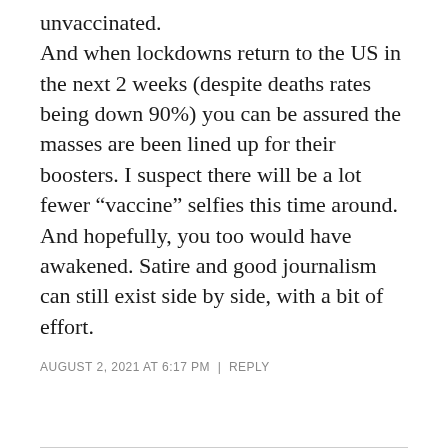unvaccinated. And when lockdowns return to the US in the next 2 weeks (despite deaths rates being down 90%) you can be assured the masses are been lined up for their boosters. I suspect there will be a lot fewer “vaccine” selfies this time around. And hopefully, you too would have awakened. Satire and good journalism can still exist side by side, with a bit of effort.
AUGUST 2, 2021 AT 6:17 PM | REPLY